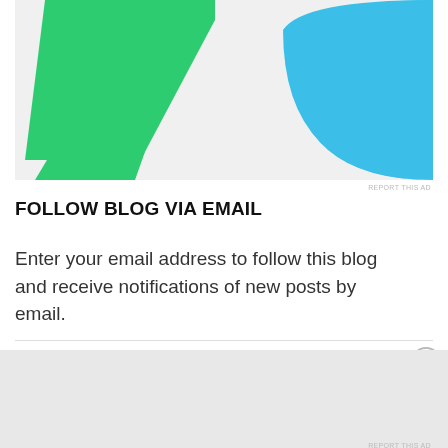[Figure (illustration): Partial graphic showing a green geometric arrow/chevron shape on the left and a blue arc/quarter-circle shape on the right, on a light gray background — part of an advertisement banner.]
REPORT THIS AD
FOLLOW BLOG VIA EMAIL
Enter your email address to follow this blog and receive notifications of new posts by email.
Advertisements
[Figure (illustration): DuckDuckGo advertisement banner on orange-red background. Text reads: 'Search, browse, and email with more privacy. All in One Free App'. Shows a smartphone with DuckDuckGo logo and branding.]